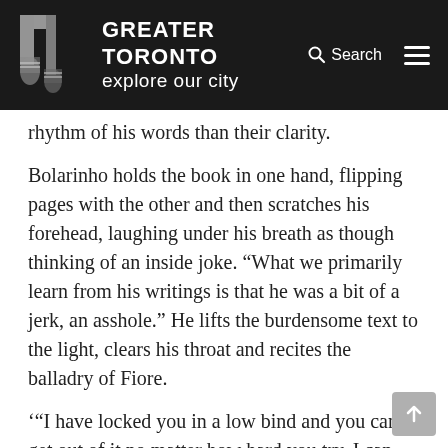GREATER TORONTO explore our city
rhythm of his words than their clarity.
Bolarinho holds the book in one hand, flipping pages with the other and then scratches his forehead, laughing under his breath as though thinking of an inside joke. “What we primarily learn from his writings is that he was a bit of a jerk, an asshole.” He lifts the burdensome text to the light, clears his throat and recites the balladry of Fiore.
‘“I have locked you in a low bind and you can’t get out of it no matter how hard you try. I can make you suffer or even kill you. I can very well write a letter on your back and you wouldn’t even be able to see me. You have no sword, you have little honour and your